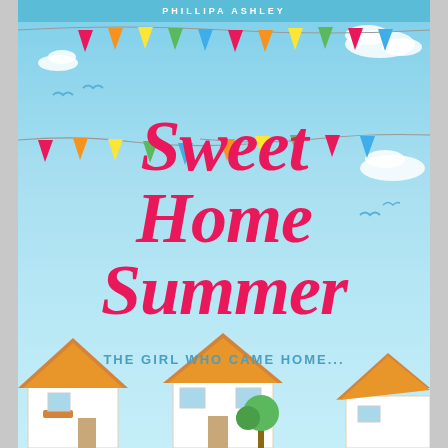PHILLIPA ASHLEY
[Figure (illustration): Book cover illustration with colorful bunting flags, sky-blue background, birds flying, white clouds, and illustrated houses at the bottom]
Sweet Home Summer
THE GIRL WHO CAME HOME...